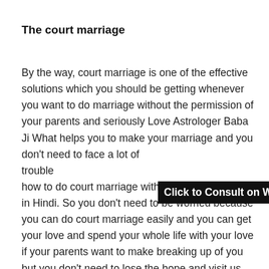The court marriage
By the way, court marriage is one of the effective solutions which you should be getting whenever you want to do marriage without the permission of your parents and seriously Love Astrologer Baba Ji What helps you to make your marriage and you don't need to face a lot of trouble how to do court marriage without informing parents in Hindi. So you don't need to be worried because you can do court marriage easily and you can get your love and spend your whole life with your love if your parents want to make breaking up of you but you don't need to lose the hope and visit us and we help you to make your marriage successfully and you could be getting your love back in your life and
[Figure (other): Click to Consult on Whatsapp banner overlay]